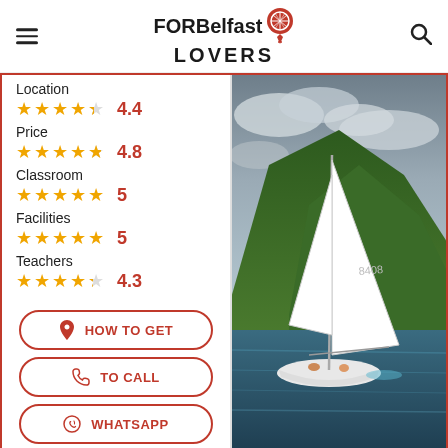FOR Belfast LOVERS
Location
4.4
Price
4.8
Classroom
5
Facilities
5
Teachers
4.3
[Figure (photo): Sailboat with white sails on water, green hillside and cloudy sky in background]
HOW TO GET
TO CALL
WHATSAPP